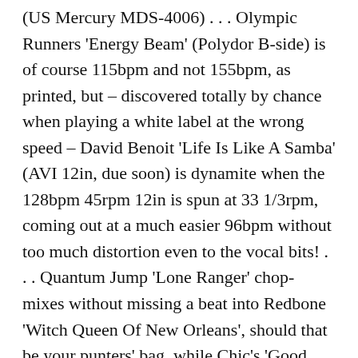(US Mercury MDS-4006) . . . Olympic Runners 'Energy Beam' (Polydor B-side) is of course 115bpm and not 155bpm, as printed, but – discovered totally by chance when playing a white label at the wrong speed – David Benoit 'Life Is Like A Samba' (AVI 12in, due soon) is dynamite when the 128bpm 45rpm 12in is spun at 33 1/3rpm, coming out at a much easier 96bpm without too much distortion even to the vocal bits! . . . Quantum Jump 'Lone Ranger' chop-mixes without missing a beat into Redbone 'Witch Queen Of New Orleans', should that be your punters' bag, while Chic's 'Good Times' instrumental section vari-speeds up to synch nicely with Richard Tee 'First Love' . . . Edinburgh and environs finally have their own